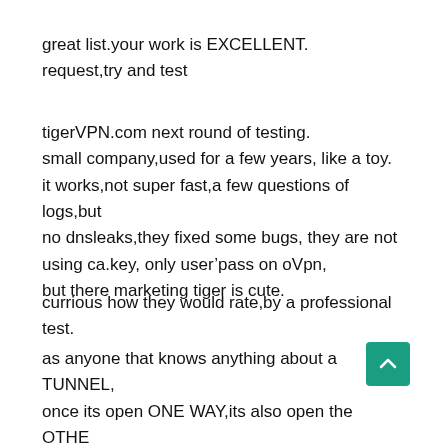great list.your work is EXCELLENT.
request,try and test
tigerVPN.com next round of testing.
small company,used for a few years, like a toy.
it works,not super fast,a few questions of logs,but no dnsleaks,they fixed some bugs, they are not using ca.key, only user’pass on oVpn,
but there marketing tiger is cute.
currious how they would rate,by a professional test.
as anyone that knows anything about a TUNNEL,
once its open ONE WAY,its also open the OTHE
way.